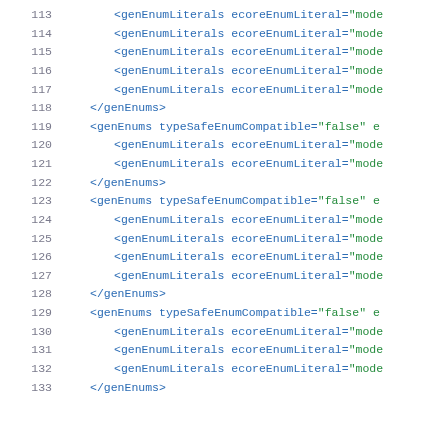Code listing lines 113-133 showing XML genEnums and genEnumLiterals elements